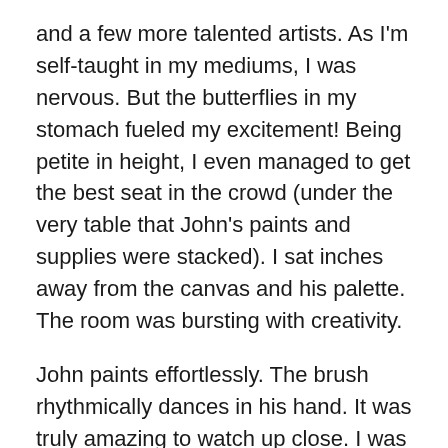and a few more talented artists. As I'm self-taught in my mediums, I was nervous. But the butterflies in my stomach fueled my excitement! Being petite in height, I even managed to get the best seat in the crowd (under the very table that John's paints and supplies were stacked). I sat inches away from the canvas and his palette. The room was bursting with creativity.
John paints effortlessly. The brush rhythmically dances in his hand. It was truly amazing to watch up close. I was fascinated by his subtle twists of the brush. I'm not sure John would explain his techniques the way that I am describing them…but art is interpretive. Observation is a very important skill to develop. It is what I love most when observing an artist at work.
Suzie's demonstration was filled with insights on framing